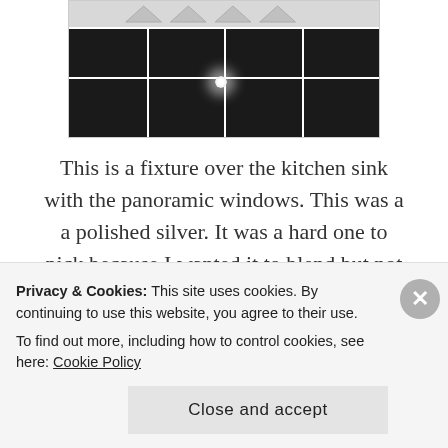[Figure (photo): Photo of a light fixture over a kitchen sink with panoramic windows visible in the background. White window frames on a dark background.]
This is a fixture over the kitchen sink with the panoramic windows. This was a a polished silver. It was a hard one to pick because I wanted it to blend but not really be a focus in the kitchen.
[Figure (photo): Partial view of a second photo, showing a light gray/silver surface at the top of the frame.]
Privacy & Cookies: This site uses cookies. By continuing to use this website, you agree to their use.
To find out more, including how to control cookies, see here: Cookie Policy
Close and accept